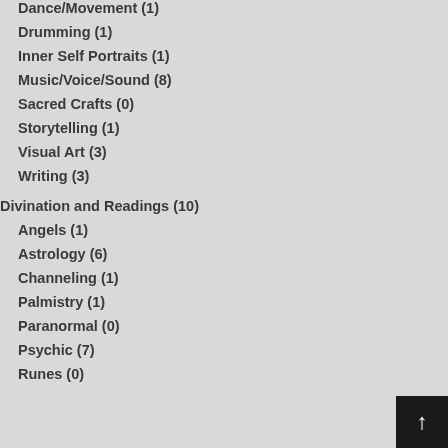Dance/Movement (1)
Drumming (1)
Inner Self Portraits (1)
Music/Voice/Sound (8)
Sacred Crafts (0)
Storytelling (1)
Visual Art (3)
Writing (3)
Divination and Readings (10)
Angels (1)
Astrology (6)
Channeling (1)
Palmistry (1)
Paranormal (0)
Psychic (7)
Runes (0)